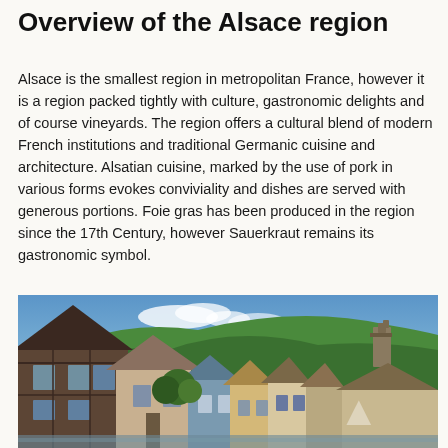Overview of the Alsace region
Alsace is the smallest region in metropolitan France, however it is a region packed tightly with culture, gastronomic delights and of course vineyards. The region offers a cultural blend of modern French institutions and traditional Germanic cuisine and architecture. Alsatian cuisine, marked by the use of pork in various forms evokes conviviality and dishes are served with generous portions. Foie gras has been produced in the region since the 17th Century, however Sauerkraut remains its gastronomic symbol.
[Figure (photo): Photograph of an Alsace village scene showing traditional half-timbered houses along a waterway, with lush green forested hills and a blue sky with clouds in the background, and stone ruins visible on the hillside.]